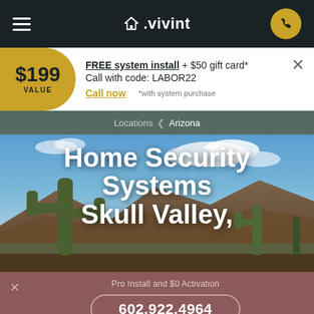≡  ⌂.vivint  📞
$199 VALUE  FREE system install + $50 gift card*  Call with code: LABOR22  Call now  *with system purchase  ×
Locations < Arizona
[Figure (photo): Arizona desert landscape with saguaro cacti and mountains under a blue sky with clouds]
Home Security Systems Skull Valley,
× Pro Install and $0 Activation  602.922.4964